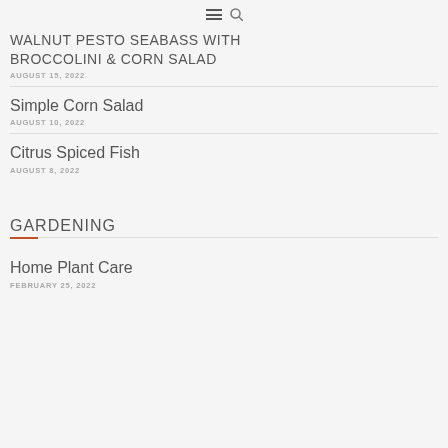☰ 🔍
WALNUT PESTO SEABASS WITH BROCCOLINI & CORN SALAD
AUGUST 15, 2022
Simple Corn Salad
AUGUST 10, 2022
Citrus Spiced Fish
AUGUST 8, 2022
GARDENING
Home Plant Care
FEBRUARY 25, 2022